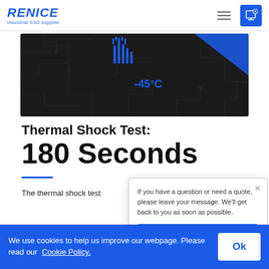RENICE industrial SSD supplier
[Figure (illustration): Dark circuit-board themed banner with blue temperature indicator icons and -45°C text in blue]
Thermal Shock Test:
180 Seconds
The thermal shock test
If you have a question or need a quote, please leave your message. We'll get back to you as soon as possible.
Get Quotes
We use cookies to help us improve our webpage. Please read our Cookie Policy. Ok